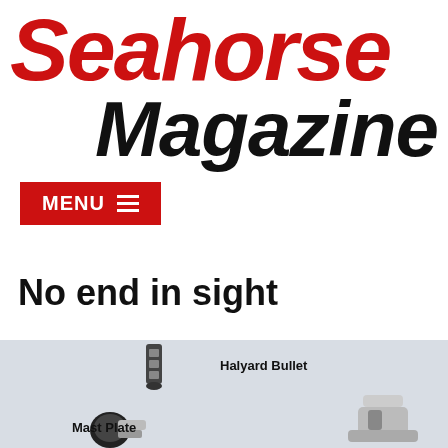Seahorse Magazine
[Figure (other): Red MENU button with hamburger icon (three horizontal lines)]
No end in sight
[Figure (photo): Product photo showing sailing hardware components on a grey background: a Halyard Bullet component (small metallic clip-like piece) with label, and a Mast Plate component (black and silver hardware piece) with label, plus another silver hardware component on the right side, partially visible.]